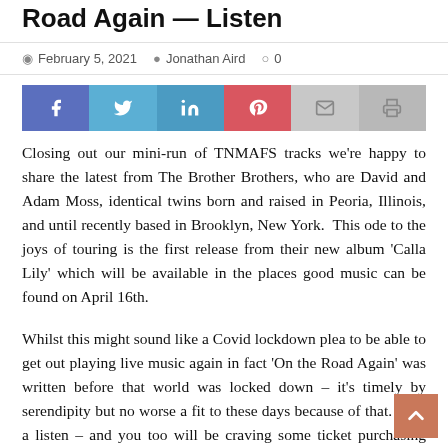Road Again — Listen
February 5, 2021  Jonathan Aird  0
[Figure (infographic): Social share buttons: Facebook, Twitter, LinkedIn, Pinterest, Email, Print]
Closing out our mini-run of TNMAFS tracks we're happy to share the latest from The Brother Brothers, who are David and Adam Moss, identical twins born and raised in Peoria, Illinois, and until recently based in Brooklyn, New York.  This ode to the joys of touring is the first release from their new album 'Calla Lily' which will be available in the places good music can be found on April 16th.
Whilst this might sound like a Covid lockdown plea to be able to get out playing live music again in fact 'On the Road Again' was written before that world was locked down – it's timely by serendipity but no worse a fit to these days because of that. Take a listen – and you too will be craving some ticket purchasing action and the simple joy of hearing great music in